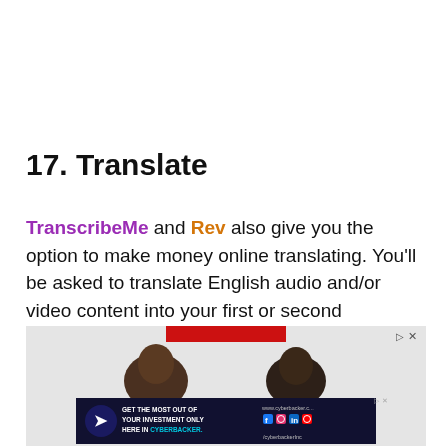17. Translate
TranscribeMe and Rev also give you the option to make money online translating. You'll be asked to translate English audio and/or video content into your first or second language.
[Figure (photo): Advertisement image showing two people (from behind/side) with a red bar at top, and a Cyberbacker advertisement banner below with logo, text GET THE MOST OUT OF YOUR INVESTMENT ONLY HERE IN CYBERBACKER., social media icons, website URL www.cyberbacker.com and handle /cyberbackerInc]